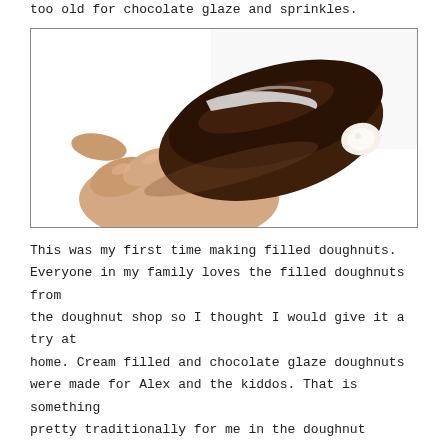too old for chocolate glaze and sprinkles.
[Figure (photo): A hand holding a chocolate glazed cream-filled doughnut, showing the cream filling visible at the end. The background is white/bright.]
This was my first time making filled doughnuts. Everyone in my family loves the filled doughnuts from the doughnut shop so I thought I would give it a try at home. Cream filled and chocolate glaze doughnuts were made for Alex and the kiddos. That is something pretty traditionally for me in the doughnut